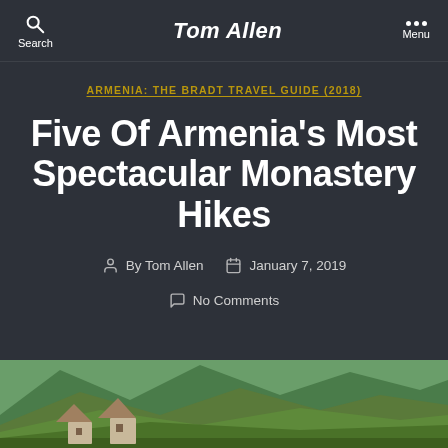Tom Allen
ARMENIA: THE BRADT TRAVEL GUIDE (2018)
Five Of Armenia's Most Spectacular Monastery Hikes
By Tom Allen   January 7, 2019   No Comments
[Figure (photo): Aerial view of an Armenian monastery with conical stone rooftops nestled in a lush green mountain valley with forested ridges in the background]